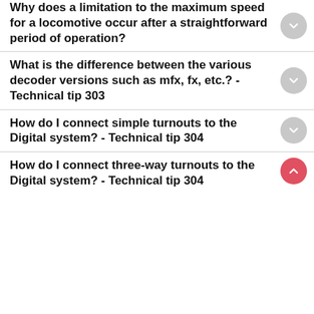Why does a limitation to the maximum speed for a locomotive occur after a straightforward period of operation?
What is the difference between the various decoder versions such as mfx, fx, etc.? - Technical tip 303
How do I connect simple turnouts to the Digital system? - Technical tip 304
How do I connect three-way turnouts to the Digital system? - Technical tip 304